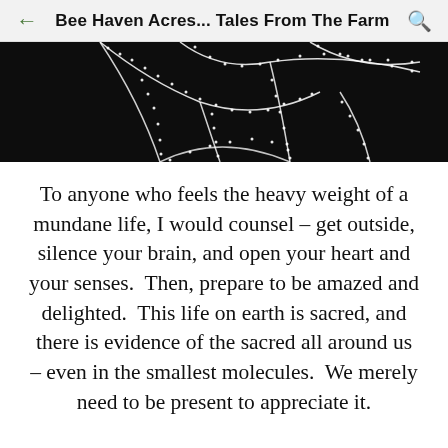Bee Haven Acres... Tales From The Farm
[Figure (photo): Close-up photograph of a spider web with dew drops or frost, strands glowing white against a dark background]
To anyone who feels the heavy weight of a mundane life, I would counsel – get outside, silence your brain, and open your heart and your senses.  Then, prepare to be amazed and delighted.  This life on earth is sacred, and there is evidence of the sacred all around us – even in the smallest molecules.  We merely need to be present to appreciate it.